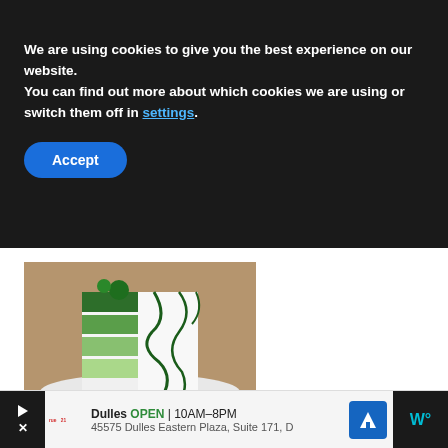We are using cookies to give you the best experience on our website.
You can find out more about which cookies we are using or switch them off in settings.
Accept
[Figure (photo): A green ombre layered cake cut open showing green cake layers with white frosting and green drizzle on top, on a white plate. Below the photo is a green banner with 'St. Patrick's Day' text.]
Dulles  OPEN | 10AM–8PM  45575 Dulles Eastern Plaza, Suite 171, D